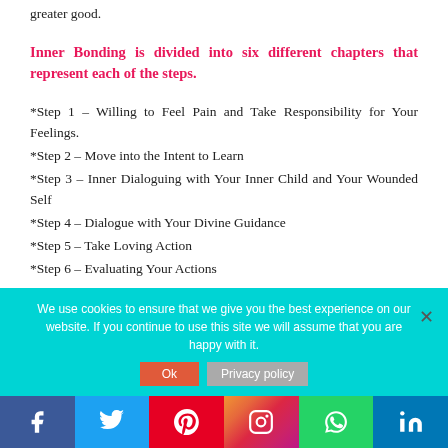greater good.
Inner Bonding is divided into six different chapters that represent each of the steps.
*Step 1 – Willing to Feel Pain and Take Responsibility for Your Feelings.
*Step 2 – Move into the Intent to Learn
*Step 3 – Inner Dialoguing with Your Inner Child and Your Wounded Self
*Step 4 – Dialogue with Your Divine Guidance
*Step 5 – Take Loving Action
*Step 6 – Evaluating Your Actions
We use cookies to ensure that we give you the best experience on our website. If you continue to use this site we will assume that you are happy with it.
Social share bar: Facebook, Twitter, Pinterest, Instagram, WhatsApp, LinkedIn